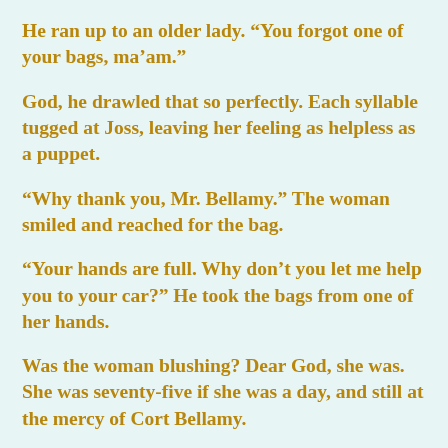He ran up to an older lady. “You forgot one of your bags, ma’am.”
God, he drawled that so perfectly. Each syllable tugged at Joss, leaving her feeling as helpless as a puppet.
“Why thank you, Mr. Bellamy.” The woman smiled and reached for the bag.
“Your hands are full. Why don’t you let me help you to your car?” He took the bags from one of her hands.
Was the woman blushing? Dear God, she was. She was seventy-five if she was a day, and still at the mercy of Cort Bellamy.
As they crossed the lot, Joss realized that she stood in